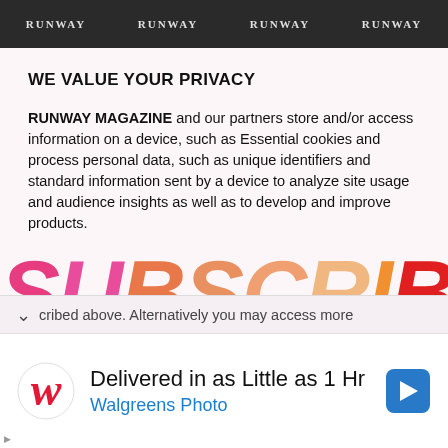[Figure (other): Top banner strip showing repeated RUNWAY MAGAZINE text in white on dark background]
WE VALUE YOUR PRIVACY
RUNWAY MAGAZINE and our partners store and/or access information on a device, such as Essential cookies and process personal data, such as unique identifiers and standard information sent by a device to analyze site usage and audience insights as well as to develop and improve products.
[Figure (other): Large SUBSCRIBE text overlay in gradient pink-orange-red colors overlaid on the privacy text]
We also work with our partners to use Advertising cookies and similar technologies. With your permission we and our partners may use precise geolocation data and identification through device scanning. You may click to consent to our and our partners' processing as described above. Alternatively you may access more
cribed above. Alternatively you may access more
[Figure (other): Advertisement banner: Walgreens logo with text 'Delivered in as Little as 1 Hr' and 'Walgreens Photo', with navigation arrow icon on right]